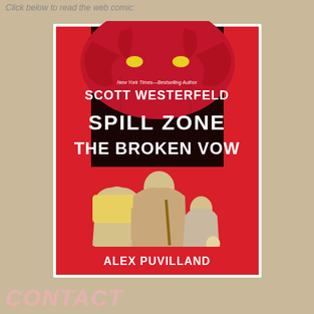Click below to read the web comic:
[Figure (illustration): Book cover for 'Spill Zone: The Broken Vow' by Scott Westerfeld and Alex Puvilland. Red and black graphic novel cover featuring three characters and a demonic figure.]
CONTACT